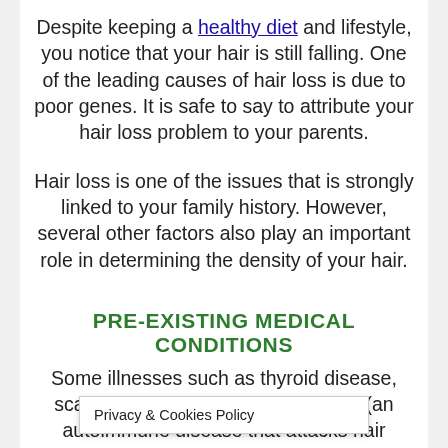Despite keeping a healthy diet and lifestyle, you notice that your hair is still falling. One of the leading causes of hair loss is due to poor genes. It is safe to say to attribute your hair loss problem to your parents.
Hair loss is one of the issues that is strongly linked to your family history. However, several other factors also play an important role in determining the density of your hair.
PRE-EXISTING MEDICAL CONDITIONS
Some illnesses such as thyroid disease, scalp infection, and alopecia areata (an autoimmune disease that attacks hair follicles) are [linked/ed]
Privacy & Cookies Policy